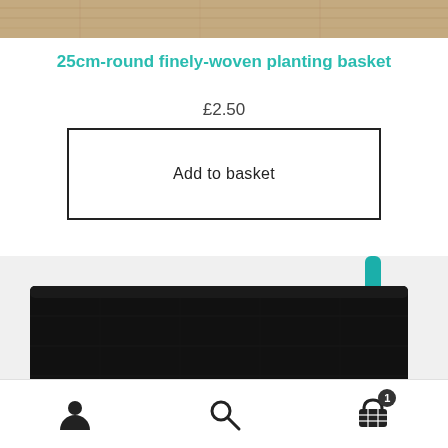[Figure (photo): Top portion of a wooden surface / background image cropped at the top of the page]
25cm-round finely-woven planting basket
£2.50
Add to basket
[Figure (photo): A finely-woven black planting basket viewed from the side, with a teal/turquoise cord handle visible at the top right]
User icon | Search icon | Basket icon with badge showing 1